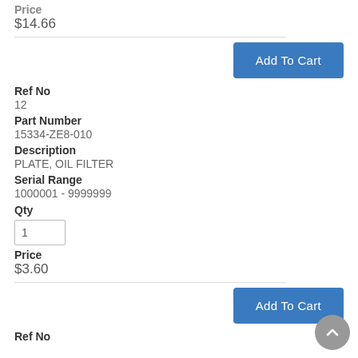Price
$14.66
Add To Cart
Ref No
12
Part Number
15334-ZE8-010
Description
PLATE, OIL FILTER
Serial Range
1000001 - 9999999
Qty
1
Price
$3.60
Add To Cart
Ref No
17